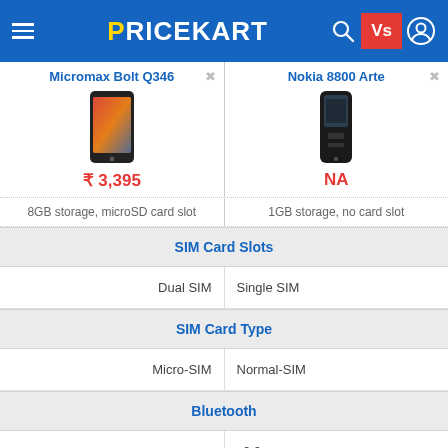PRICEKART
| Micromax Bolt Q346 | Nokia 8800 Arte |
| --- | --- |
| ₹ 3,395 | NA |
| 8GB storage, microSD card slot | 1GB storage, no card slot |
| SIM Card Slots | SIM Card Slots |
| Dual SIM | Single SIM |
| SIM Card Type | SIM Card Type |
| Micro-SIM | Normal-SIM |
| Bluetooth | Bluetooth |
|  | v2.0 |
| 3.5 mm Jack | 3.5 mm Jack |
| Yes | N/A |
| VoLTE | VoLTE |